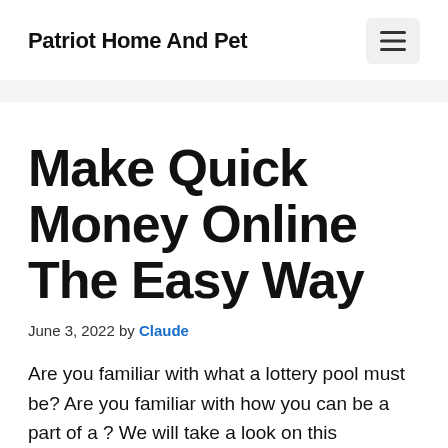Patriot Home And Pet
Make Quick Money Online The Easy Way
June 3, 2022 by Claude
Are you familiar with what a lottery pool must be? Are you familiar with how you can be a part of a ? We will take a look on this